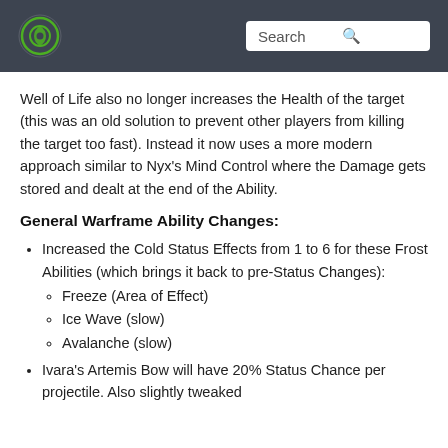Search
Well of Life also no longer increases the Health of the target (this was an old solution to prevent other players from killing the target too fast). Instead it now uses a more modern approach similar to Nyx's Mind Control where the Damage gets stored and dealt at the end of the Ability.
General Warframe Ability Changes:
Increased the Cold Status Effects from 1 to 6 for these Frost Abilities (which brings it back to pre-Status Changes):
Freeze (Area of Effect)
Ice Wave (slow)
Avalanche (slow)
Ivara's Artemis Bow will have 20% Status Chance per projectile. Also slightly tweaked